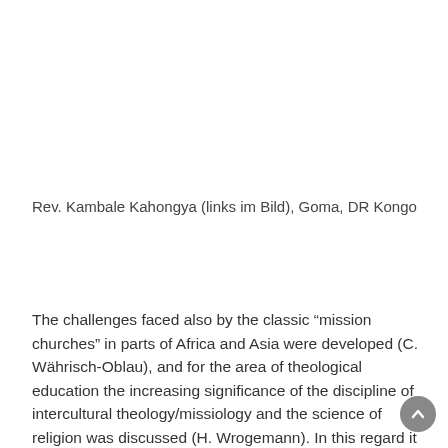Rev. Kambale Kahongya (links im Bild), Goma, DR Kongo
The challenges faced also by the classic “mission churches” in parts of Africa and Asia were developed (C. Währisch-Oblau), and for the area of theological education the increasing significance of the discipline of intercultural theology/missiology and the science of religion was discussed (H. Wrogemann). In this regard it is not simply a question of intercultural and